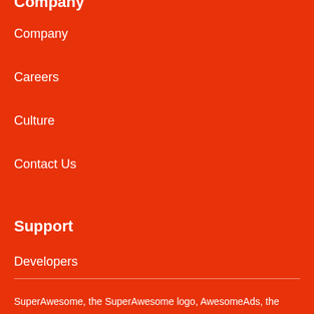Company
Company
Careers
Culture
Contact Us
Support
Developers
Privacy Hub
Terms Of Use
Modern Slavery
SuperAwesome, the SuperAwesome logo, AwesomeAds, the